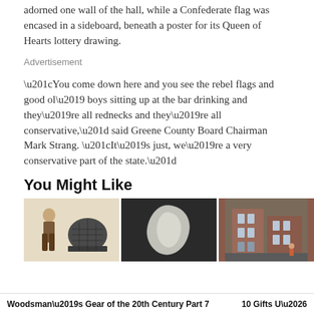adorned one wall of the hall, while a Confederate flag was encased in a sideboard, beneath a poster for its Queen of Hearts lottery drawing.
Advertisement
“You come down here and you see the rebel flags and good ol’ boys sitting up at the bar drinking and they’re all rednecks and they’re all conservative,” said Greene County Board Chairman Mark Strang. “It’s just, we’re a very conservative part of the state.”
You Might Like
[Figure (photo): Three thumbnail images side by side: first shows an illustrated woman and a military helmet (Woodsman's Gear), second shows a white translucent blob or sculpture on dark background, third shows a brownstone building street scene.]
Woodsman’s Gear of the 20th Century Part 7    10 Gifts U…